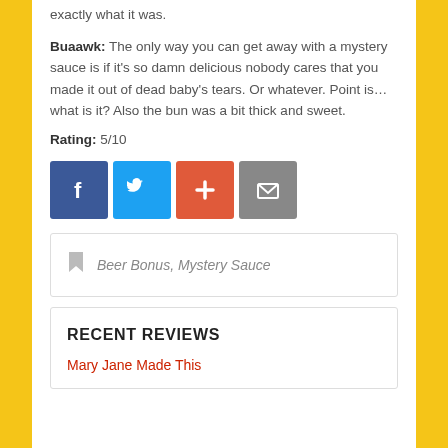exactly what it was.
Buaawk: The only way you can get away with a mystery sauce is if it's so damn delicious nobody cares that you made it out of dead baby's tears. Or whatever. Point is… what is it? Also the bun was a bit thick and sweet.
Rating: 5/10
[Figure (infographic): Social share buttons: Facebook (blue), Twitter (blue), Add/Plus (orange-red), Email (grey)]
Beer Bonus, Mystery Sauce
RECENT REVIEWS
Mary Jane Made This